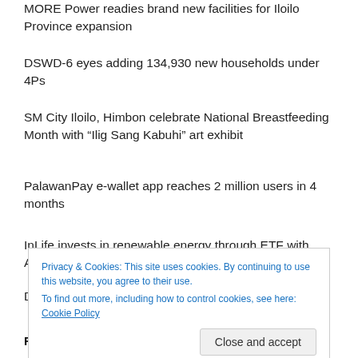MORE Power readies brand new facilities for Iloilo Province expansion
DSWD-6 eyes adding 134,930 new households under 4Ps
SM City Iloilo, Himbon celebrate National Breastfeeding Month with “Ilig Sang Kabuhi” art exhibit
PalawanPay e-wallet app reaches 2 million users in 4 months
InLife invests in renewable energy through ETF with ACEN
Drilon to LGUs: Embark on PPPs, emulate Iloilo City
Privacy & Cookies: This site uses cookies. By continuing to use this website, you agree to their use.
To find out more, including how to control cookies, see here: Cookie Policy
RECENT COMMENTS